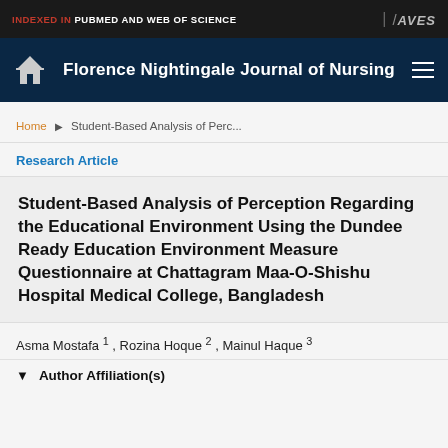INDEXED IN PUBMED AND WEB OF SCIENCE
Florence Nightingale Journal of Nursing
Home ▶ Student-Based Analysis of Perc...
Research Article
Student-Based Analysis of Perception Regarding the Educational Environment Using the Dundee Ready Education Environment Measure Questionnaire at Chattagram Maa-O-Shishu Hospital Medical College, Bangladesh
Asma Mostafa 1 , Rozina Hoque 2 , Mainul Haque 3
Author Affiliation(s)